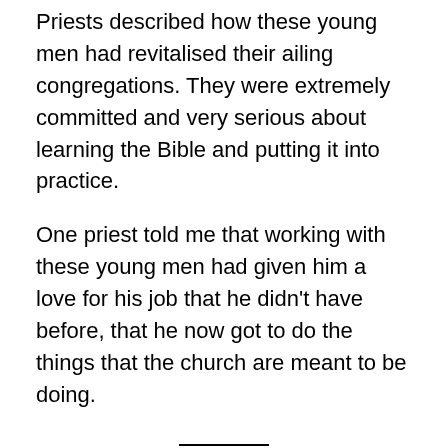Priests described how these young men had revitalised their ailing congregations. They were extremely committed and very serious about learning the Bible and putting it into practice.
One priest told me that working with these young men had given him a love for his job that he didn’t have before, that he now got to do the things that the church are meant to be doing.
All of this brings me back to an important point. We need to learn to listen to those we judge.